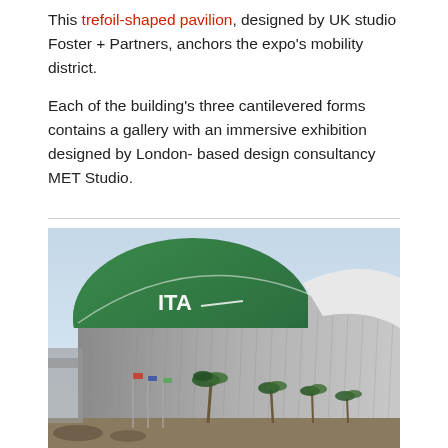This trefoil-shaped pavilion, designed by UK studio Foster + Partners, anchors the expo's mobility district.

Each of the building's three cantilevered forms contains a gallery with an immersive exhibition designed by London-based design consultancy MET Studio.
[Figure (photo): Exterior photograph of a pavilion building with a large green dome labeled 'ITA', textured grey curtain-like facade, palm trees and flagpoles in the foreground, blue sky background.]